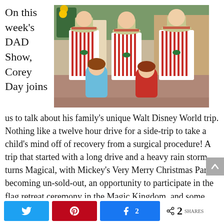On this week's DAD Show, Corey Day joins
[Figure (photo): Group photo of two young girls with three men in red and white striped vests and straw hats, at Walt Disney World Magic Kingdom, with Christmas decorations in background.]
us to talk about his family's unique Walt Disney World trip. Nothing like a twelve hour drive for a side-trip to take a child's mind off of recovery from a surgical procedure! A trip that started with a long drive and a heavy rain storm turns Magical, with Mickey's Very Merry Christmas Party becoming un-sold-out, an opportunity to participate in the flag retreat ceremony in the Magic Kingdom, and some